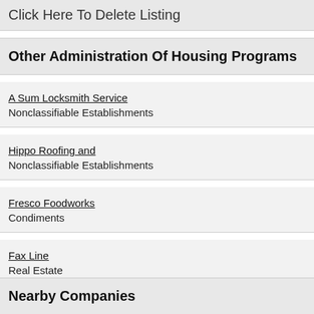Click Here To Delete Listing
Other Administration Of Housing Programs
A Sum Locksmith Service
Nonclassifiable Establishments
Hippo Roofing and
Nonclassifiable Establishments
Fresco Foodworks
Condiments
Fax Line
Real Estate
Nearby Companies